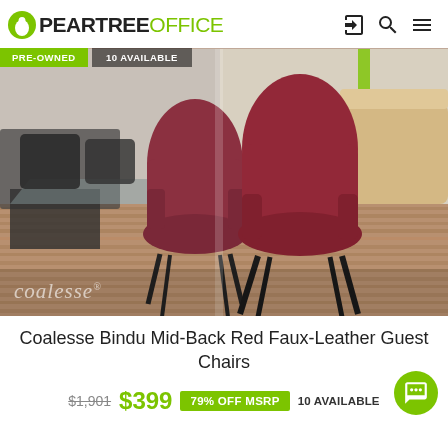PEARTREE OFFICE
[Figure (photo): Showroom photo of Coalesse Bindu mid-back red faux-leather guest chairs in an office setting with wood floors. Two chairs visible near office desks. 'coalesse' watermark in lower left. Badges: PRE-OWNED, 10 AVAILABLE.]
Coalesse Bindu Mid-Back Red Faux-Leather Guest Chairs
$1,901  $399  79% OFF MSRP  10 AVAILABLE